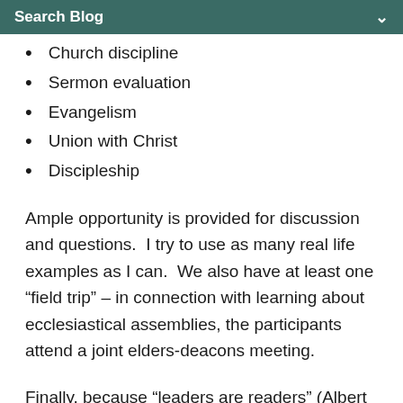Search Blog
Church discipline
Sermon evaluation
Evangelism
Union with Christ
Discipleship
Ample opportunity is provided for discussion and questions.  I try to use as many real life examples as I can.  We also have at least one “field trip” – in connection with learning about ecclesiastical assemblies, the participants attend a joint elders-deacons meeting.
Finally, because “leaders are readers” (Albert